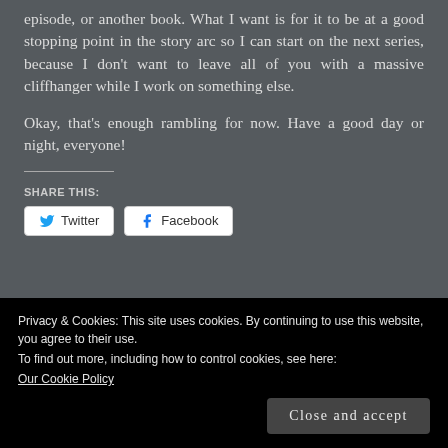episode, or another book. What I want is for it to be at a good stopping point in the story arc so I can start on the next series, because I don't want to leave all of you with a massive cliffhanger while I work on something else.
Okay, that's enough rambling for now. Have a good day or night, everyone!
SHARE THIS:
[Figure (other): Share buttons for Twitter and Facebook]
Privacy & Cookies: This site uses cookies. By continuing to use this website, you agree to their use.
To find out more, including how to control cookies, see here:
Our Cookie Policy